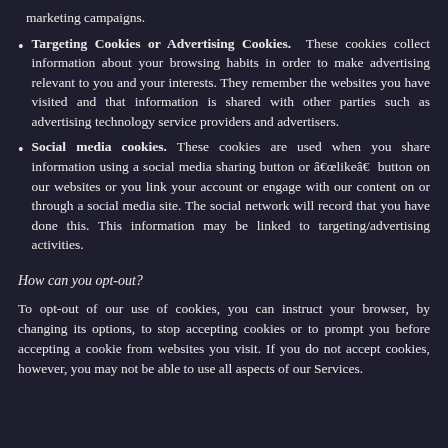marketing campaigns.
Targeting Cookies or Advertising Cookies. These cookies collect information about your browsing habits in order to make advertising relevant to you and your interests. They remember the websites you have visited and that information is shared with other parties such as advertising technology service providers and advertisers.
Social media cookies. These cookies are used when you share information using a social media sharing button or â€œlikeâ€ button on our websites or you link your account or engage with our content on or through a social media site. The social network will record that you have done this. This information may be linked to targeting/advertising activities.
How can you opt-out?
To opt-out of our use of cookies, you can instruct your browser, by changing its options, to stop accepting cookies or to prompt you before accepting a cookie from websites you visit. If you do not accept cookies, however, you may not be able to use all aspects of our Services.